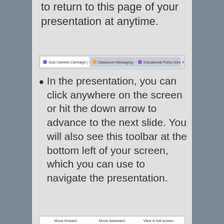to return to this page of your presentation at anytime.
[Figure (screenshot): Browser tab bar showing three open tabs: Sustainable Campaign / Solution, Classroom Messaging: Customers..., and Educational Policy Unresponsive Param..., with a plus button to add a new tab.]
In the presentation, you can click anywhere on the screen or hit the down arrow to advance to the next slide. You will also see this toolbar at the bottom left of your screen, which you can use to navigate the presentation.
[Figure (screenshot): Presentation navigation toolbar showing: Move forward, Move backward one slide, View in full screen (Press Esc to exit)]